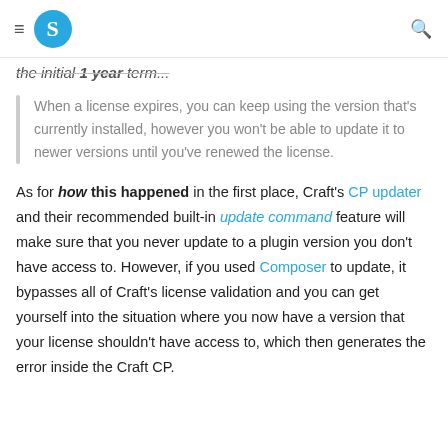S [logo] [search icon]
the initial 1 year term...
When a license expires, you can keep using the version that's currently installed, however you won't be able to update it to newer versions until you've renewed the license.
As for how this happened in the first place, Craft's CP updater and their recommended built-in update command feature will make sure that you never update to a plugin version you don't have access to. However, if you used Composer to update, it bypasses all of Craft's license validation and you can get yourself into the situation where you now have a version that your license shouldn't have access to, which then generates the error inside the Craft CP.